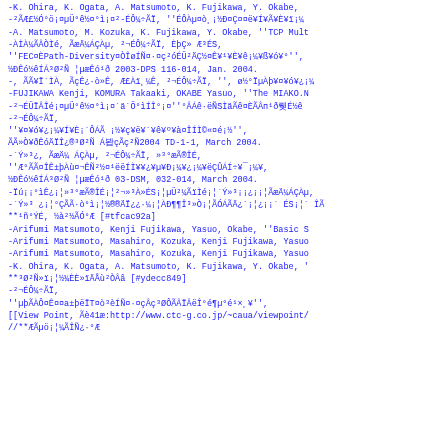-K. Ohira, K. Ogata, A. Matsumoto, K. Fujikawa, Y. Okabe,
-²ÃÆ£½Ó°ö¡¤µÜ°ê½¤°ì¡¤²-ÉÔ¼÷ÃÏ, ''ÉÔÀµ¤ò¸¡½Ð¤Ç¤¤ë¥Í¥Ã¥È¥ï¡¼
-A. Matsumoto, M. Kozuka, K. Fujikawa, Y. Okabe, ''TCP Mult
-ÀÌÀ¼ÃÂÒÌé, ÃæÄ¼ÁÇÀµ, ²¬ÉÔ¼÷ÃÏ, ÈþÇ» Æ³ÉS,
''FEC¤ÈPath-Diversity¤ÒÎøÍÑ¤·¤ç²óÉÜ²ÄÇ½¤Ê¥¹¥È¥ê¡¼¥ß¥ó¥°'',
½ÐÊó½êÍÁ³Ø²Ñ ¦µæÊó¹ð 2003-DPS 116-014, Jan. 2004.
-, ÃÃ¥Ï´ÌÀ, ÃçÊ¿·ò»Ê, Æ£Àï¸¼Ê, ²¬ÉÔ¼÷ÃÏ, '', ø½°ÏµÀþ¥¤¥ó¥¿¡¼
-FUJIKAWA Kenji, KOMURA Takaaki, OKABE Yasuo, ''The MIAKO.N
-²¬ÉÜÏÂÎé¡¤µÜ°ê½¤°ì¡¤´ä´Ö°ìÍÎ°¡¤''°ÂÁê·ëÑSÌäÃê¤ÈÃÂп¹ð뤶É½ê
-²¬ÉÔ¼÷ÃÏ,
''¥¤¥ó¥¿¡¼¥Í¥È¡´ÔÁÃ ¡½¥ç¥ë¥´¥ê¥º¥à¤ÎÍÌ©«¤é¡½'',
ÃÃ»Ò¥ðÊóÄÏÎ¿®³Ø²Ñ Á봡çÃç²Ñ2004 TD-1-1, March 2004.
-´Ý»³¿, ÃæÄ¼ ÁÇÀµ, ²¬ÉÔ¼÷ÃÏ, »³°æÃ®ÎÉ,
''Æ°ÃÃ¤ÎÊ±þÀù¤¬ÊÑ²½¤¹ëëÍÌ¥¥¿¥µ¥Ð¡¼¥¿¡¼¥ëÇÛÁÍ÷¥¯¡¼¥,
½ÐÊó½êÍÁ³Ø²Ñ ¦µæÊó¹ð 03-DSM, 032-014, March 2004.
-Ïú¡¡°ìÊ¿¡¦»³°æÃ®ÎÉ¡¦²¬»³À»ÉS¡¦µÜ²¼ÃïÌé¡¦´Ý»³¡¡¿¡¡¦ÃæÄ¼ÁÇÀµ,
-´Ý»³ ¿¡¦°ÇÃÃ·ò°ì¡¦½®®ÄÏ¿¿·¼¡¦ÀÐ¶¶Î³»Ò¡¦ÃÓÁÃÄ¿´¡¦¿¡¡´ ÉS¡¦´ ÎÃ
**¹ñ°ÝÉ, ½à²½ÃÓ°Æ [#tfcac92a]
-Arifumi Matsumoto, Kenji Fujikawa, Yasuo, Okabe, ''Basic S
-Arifumi Matsumoto, Masahiro, Kozuka, Kenji Fujikawa, Yasuo
-Arifumi Matsumoto, Masahiro, Kozuka, Kenji Fujikawa, Yasuo
-K. Ohira, K. Ogata, A. Matsumoto, K. Fujikawa, Y. Okabe, '
**³Ø²Ñ»ï¡¦½¾ÈÈ»ïÄÅù²ÒÂâ [#ydecc849]
-²¬ÉÔ¼÷ÃÏ,
''µþÃÀÔ¤Ê¤¤a±þëÏT¤ò³èÍÑ¤·¤çÂç³ØÔÃÂÏÂëÎ°é¶µ°é¹×¸¥'',
[[View Point, Ãè41æ:http://www.ctc-g.co.jp/~caua/viewpoint/
//**ÆÃµö¡¦¼ÃÎÑ¿·°Æ